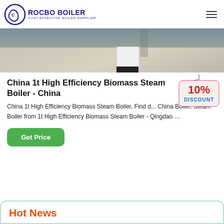ROCBO BOILER — COST-EFFECTIVE BOILER SUPPLIER
[Figure (photo): Interior product/showroom photo with flooring and appliance visible]
China 1t High Efficiency Biomass Steam Boiler - China
[Figure (illustration): 10% DISCOUNT badge/label hanging sign]
China 1t High Efficiency Biomass Steam Boiler, Find d... China Boiler, Steam Boiler from 1t High Efficiency Biomass Steam Boiler - Qingdao …
Get Price
Hot News